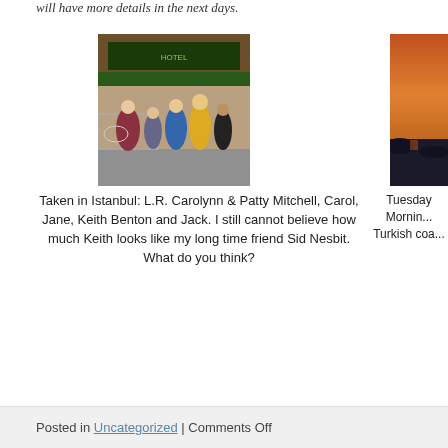will have more details in the next days.
[Figure (photo): Group photo taken in Istanbul showing L.R. Carolynn & Patty Mitchell, Carol, Jane, Keith Benton and Jack, standing in front of a hotel/restaurant facade.]
Taken in Istanbul: L.R. Carolynn & Patty Mitchell, Carol, Jane, Keith Benton and Jack. I still cannot believe how much Keith looks like my long time friend Sid Nesbit. What do you think?
[Figure (photo): Partial photo showing a sunset or sunrise over what appears to be the Turkish coast, with orange/red sky over dark water and rocks.]
Tuesday Morning Turkish coa...
Posted in Uncategorized | Comments Off